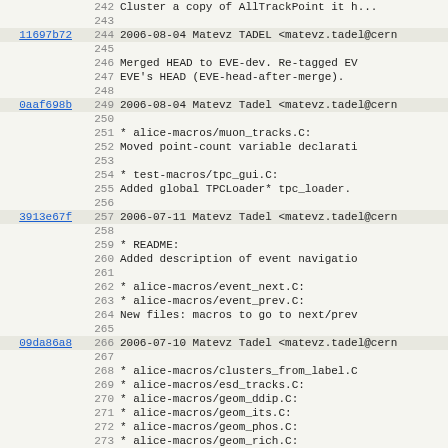Code repository blame/log view showing commits 242-274 with hash links, line numbers, dates, authors, and commit messages for alice-macros and related files.
242: Cluster a copy of AllTrackPoint it h...
243: (empty)
11697b72 244: 2006-08-04 Matevz TADEL <matevz.tadel@cern...
245: (empty)
246: Merged HEAD to EVE-dev. Re-tagged EV...
247: EVE's HEAD (EVE-head-after-merge).
248: (empty)
0aaf698b 249: 2006-08-04 Matevz Tadel <matevz.tadel@cern...
250: (empty)
251: * alice-macros/muon_tracks.C:
252: Moved point-count variable declarati...
253: (empty)
254: * test-macros/tpc_gui.C:
255: Added global TPCLoader* tpc_loader.
256: (empty)
3913e67f 257: 2006-07-11 Matevz Tadel <matevz.tadel@cern...
258: (empty)
259: * README:
260: Added description of event navigatio...
261: (empty)
262: * alice-macros/event_next.C:
263: * alice-macros/event_prev.C:
264: New files: macros to go to next/prev...
265: (empty)
09da86a8 266: 2006-07-10 Matevz Tadel <matevz.tadel@cern...
267: (empty)
268: * alice-macros/clusters_from_label.C...
269: * alice-macros/esd_tracks.C:
270: * alice-macros/geom_ddip.C:
271: * alice-macros/geom_its.C:
272: * alice-macros/geom_phos.C:
273: * alice-macros/geom_rich.C:
274: * alice-macros/geom_simple.C:...